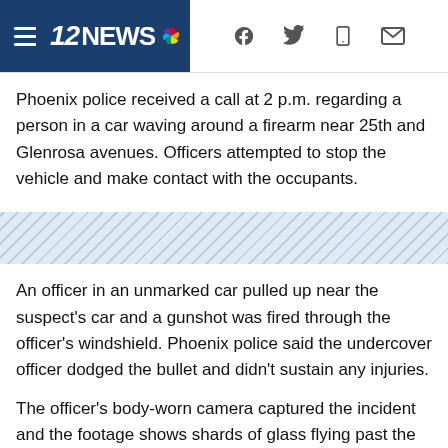12NEWS
Phoenix police received a call at 2 p.m. regarding a person in a car waving around a firearm near 25th and Glenrosa avenues. Officers attempted to stop the vehicle and make contact with the occupants.
[Figure (other): Diagonal stripe divider / ad placeholder band]
An officer in an unmarked car pulled up near the suspect's car and a gunshot was fired through the officer's windshield. Phoenix police said the undercover officer dodged the bullet and didn't sustain any injuries.
The officer's body-worn camera captured the incident and the footage shows shards of glass flying past the officer as the bullet pierces through the windshield.